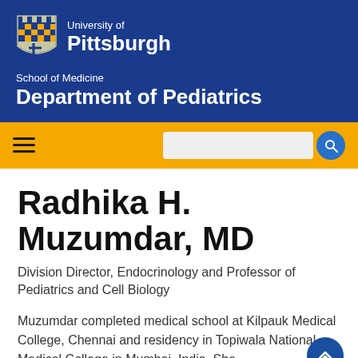[Figure (logo): University of Pittsburgh shield logo with gold and blue checkered pattern and castle top]
University of Pittsburgh
School of Medicine
Department of Pediatrics
Radhika H. Muzumdar, MD
Division Director, Endocrinology and Professor of Pediatrics and Cell Biology
Muzumdar completed medical school at Kilpauk Medical College, Chennai and residency in Topiwala National Medical College in Mumbai, India. She